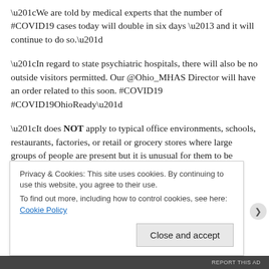“We are told by medical experts that the number of #COVID19 cases today will double in six days – and it will continue to do so.”
“In regard to state psychiatric hospitals, there will also be no outside visitors permitted. Our @Ohio_MHAS Director will have an order related to this soon. #COVID19 #COVID19OhioReady”
“It does NOT apply to typical office environments, schools, restaurants, factories, or retail or grocery stores where large groups of people are present but it is unusual for them to be
Privacy & Cookies: This site uses cookies. By continuing to use this website, you agree to their use.
To find out more, including how to control cookies, see here: Cookie Policy
Close and accept